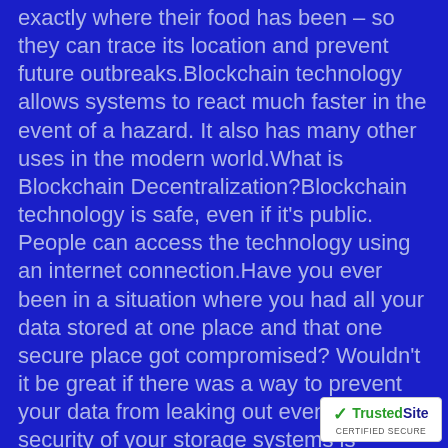exactly where their food has been – so they can trace its location and prevent future outbreaks.Blockchain technology allows systems to react much faster in the event of a hazard. It also has many other uses in the modern world.What is Blockchain Decentralization?Blockchain technology is safe, even if it's public. People can access the technology using an internet connection.Have you ever been in a situation where you had all your data stored at one place and that one secure place got compromised? Wouldn't it be great if there was a way to prevent your data from leaking out even when the security of your storage systems is compromised?Blockchain technology provides a way of avoiding this situation by using multiple computers at different locations to store information about transactions. If one computer experiences problems with a transaction, it will not affect the other nodes.Instead, other nodes will use the correct information to cross-reference your
[Figure (logo): TrustedSite CERTIFIED SECURE badge with green checkmark logo]